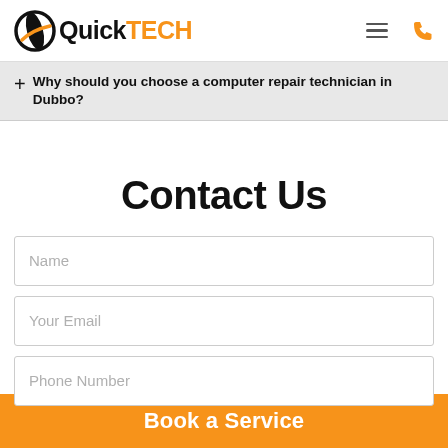QuickTECH
+ Why should you choose a computer repair technician in Dubbo?
Contact Us
Name
Your Email
Phone Number
Book a Service